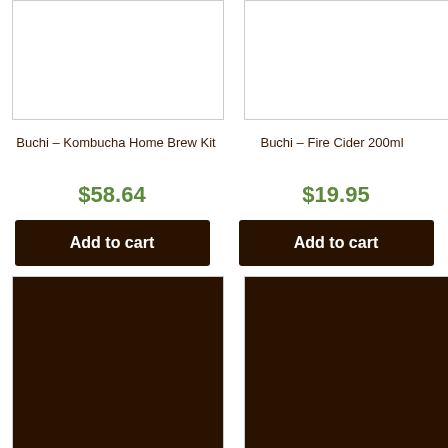[Figure (photo): Product image box for Buchi Kombucha Home Brew Kit (top, cropped)]
[Figure (photo): Product image box for Buchi Fire Cider 200ml (top, cropped)]
Buchi – Kombucha Home Brew Kit
Buchi – Fire Cider 200ml
$58.64
$19.95
Add to cart
Add to cart
[Figure (photo): Product image box bottom left (dark background, cropped)]
[Figure (photo): Product image box bottom right (dark background, cropped)]